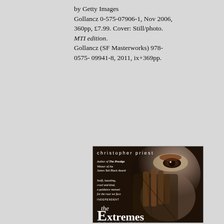by Getty Images
Gollancz 0-575-07906-1, Nov 2006, 360pp, £7.99. Cover: Still/photo. MTI edition.
Gollancz (SF Masterworks) 978-0575- 09941-8, 2011, ix+369pp.
[Figure (illustration): Book cover for 'The Extremes' by Christopher Priest. Shows a distorted close-up of a human face merging with a dark, textured hand-like form. Author name at top in spaced letters, blurbs on left side. Title at bottom with large 'E' in Extremes. Shortlisted for the Arthur C. Clarke Award noted at bottom.]